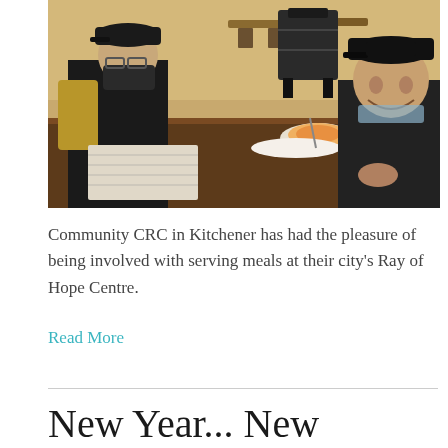[Figure (photo): Two people sitting at a table in a cafeteria-style room. The person on the left wears a black mask, black jacket, and a cap, and is looking at papers. The person on the right is an older man wearing a black cap and dark jacket, smiling at the camera. A bowl of soup and a plate are on the table. Background shows other tables and chairs.]
Community CRC in Kitchener has had the pleasure of being involved with serving meals at their city's Ray of Hope Centre.
Read More
New Year... New Approaches(?) -Part I